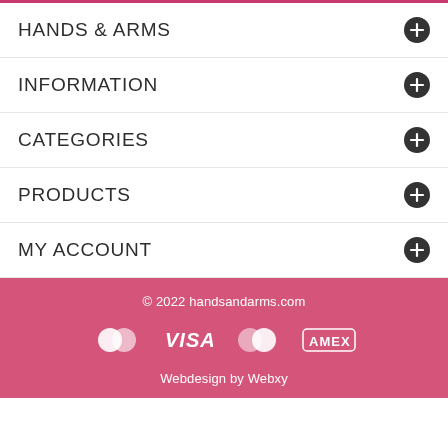HANDS & ARMS
INFORMATION
CATEGORIES
PRODUCTS
MY ACCOUNT
© 2022 handsandarms.com
Webdesign by Webxy